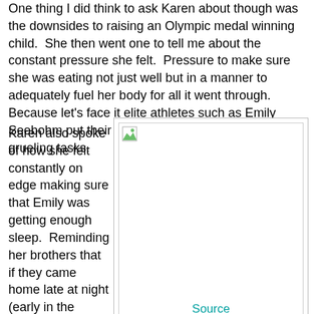One thing I did think to ask Karen about though was the downsides to raising an Olympic medal winning child.  She then went one to tell me about the constant pressure she felt.  Pressure to make sure  she was eating not just well but in a manner to adequately fuel her body for all it went through.  Because let's face it elite athletes such as Emily Seebohm put their bodies through some pretty grueling tasks.
Karen also spoke of how she felt constantly on edge making sure that Emily was getting enough sleep.  Reminding her brothers that if they came home late at night (early in the
[Figure (photo): A broken/unloaded image placeholder with a small broken image icon in the top-left corner, shown inside a bordered box.]
Source